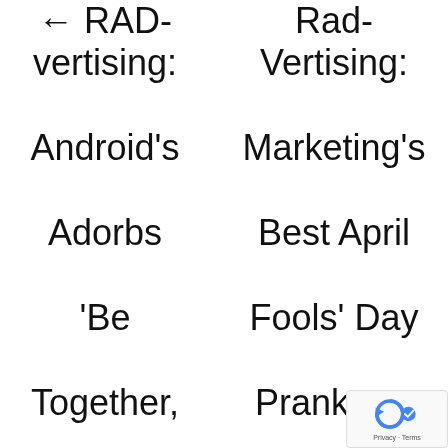← RAD-vertising: Android's Adorbs 'Be Together, Not the Same' Ads
Rad-Vertising: Marketing's Best April Fools' Day Pranks →
[Figure (logo): reCAPTCHA badge with Privacy · Terms label]